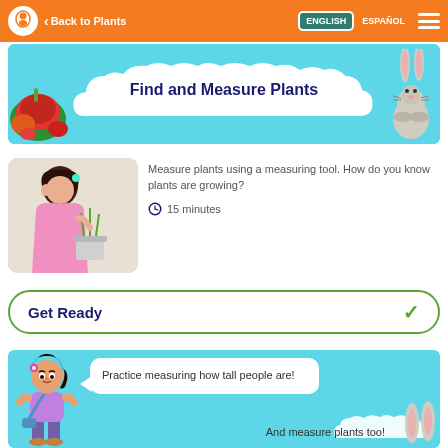Back to Plants | ENGLISH | ESPAÑOL
Find and Measure Plants
[Figure (photo): Young girl measuring a small plant in a pot against a wall]
Measure plants using a measuring tool. How do you know plants are growing?
15 minutes
Get Ready
[Figure (illustration): Cartoon girl character with speech bubble saying 'Practice measuring how tall people are!' and bottom text 'And measure plants too!' with rabbit ears visible]
Practice measuring how tall people are!
And measure plants too!